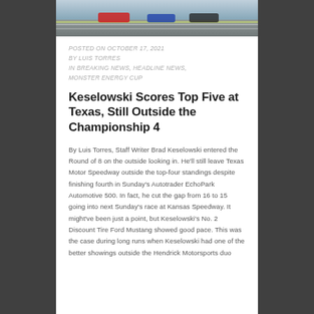[Figure (photo): Racing photo strip at top of article showing race cars on track]
POSTED ON OCTOBER 17, 2021
BY LUIS TORRES
IN BREAKING NEWS, HEADLINE NEWS, MONSTER ENERGY CUP
Keselowski Scores Top Five at Texas, Still Outside the Championship 4
By Luis Torres, Staff Writer Brad Keselowski entered the Round of 8 on the outside looking in. He'll still leave Texas Motor Speedway outside the top-four standings despite finishing fourth in Sunday's Autotrader EchoPark Automotive 500. In fact, he cut the gap from 16 to 15 going into next Sunday's race at Kansas Speedway. It might've been just a point, but Keselowski's No. 2 Discount Tire Ford Mustang showed good pace. This was the case during long runs when Keselowski had one of the better showings outside the Hendrick Motorsports duo